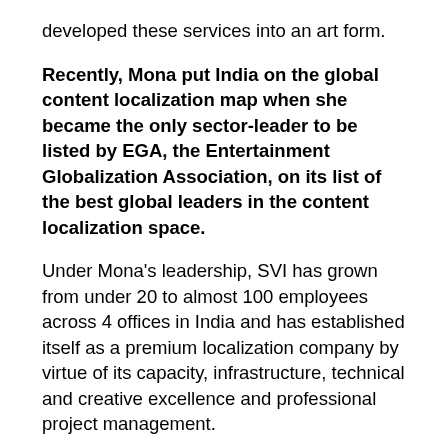developed these services into an art form.
Recently, Mona put India on the global content localization map when she became the only sector-leader to be listed by EGA, the Entertainment Globalization Association, on its list of the best global leaders in the content localization space.
Under Mona's leadership, SVI has grown from under 20 to almost 100 employees across 4 offices in India and has established itself as a premium localization company by virtue of its capacity, infrastructure, technical and creative excellence and professional project management.